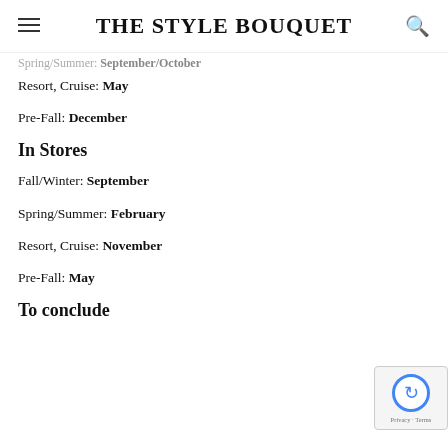THE STYLE BOUQUET
Spring/Summer: September/October
Resort, Cruise: May
Pre-Fall: December
In Stores
Fall/Winter: September
Spring/Summer: February
Resort, Cruise: November
Pre-Fall: May
To conclude